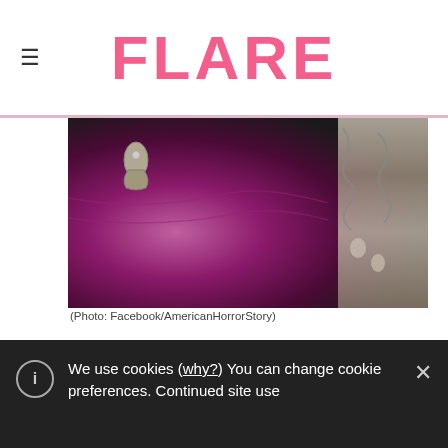FLARE
[Figure (photo): Close-up of a person wearing a magenta/purple draped garment with a silver dragon brooch on the shoulder and a heavily embellished silver sleeve visible on the right side.]
(Photo: Facebook/AmericanHorrorStory)
Last winter, CBC comedy Schitt's Creek featured the twist of the season: everyone-assumed-he's-gay David (Dan Levy) hooked up with gal pal Stevie (Emily Hampshire), and when she admitted she
We use cookies (why?) You can change cookie preferences. Continued site use